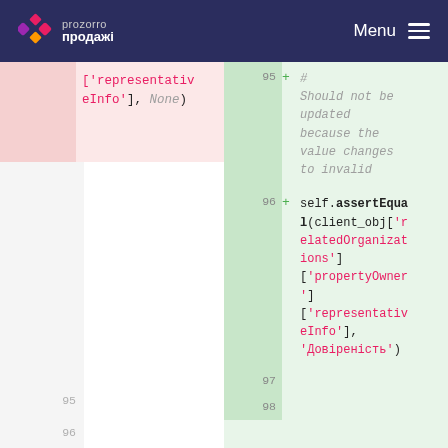prozorro продажі | Menu
[Figure (screenshot): Code diff view showing removed code (left, pink background) with ['representativeInfo'], None) and added code (right, green background) with lines 95-96 showing a comment '# Should not be updated because the value changes to invalid' and self.assertEqual(client_obj['relatedOrganizations']['propertyOwner']['representativeInfo'], 'Довіреність')]